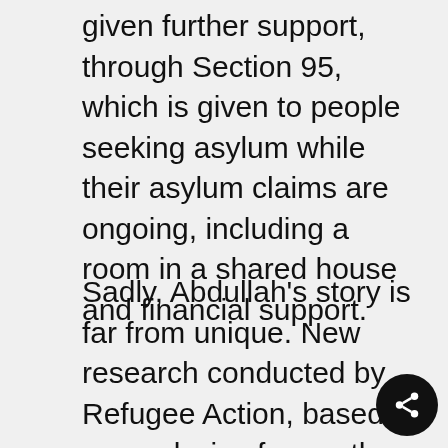given further support, through Section 95, which is given to people seeking asylum while their asylum claims are ongoing, including a room in a shared house and financial support.
Sadly, Abdullah's story is far from unique. New research conducted by Refugee Action, based on analysis of more than 300 asylum support cases between January 2016 and March 2017, shows people at risk of